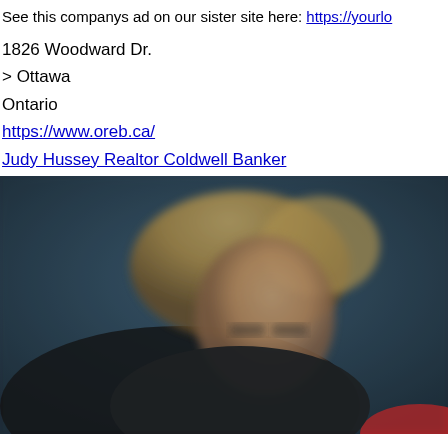See this companys ad on our sister site here: https://yourlo...
1826 Woodward Dr.
> Ottawa
Ontario
https://www.oreb.ca/
Judy Hussey Realtor Coldwell Banker
[Figure (photo): Blurry photo of a person with blonde hair wearing glasses and a dark jacket, against a dark blue/grey background.]